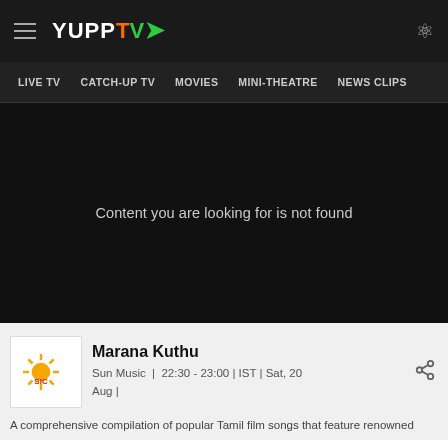YuppTV — LIVE TV | CATCH-UP TV | MOVIES | MINI-THEATRE | NEWS CLIPS
[Figure (screenshot): Black video player area showing 'Content you are looking for is not found' message]
Content you are looking for is not found
[Figure (logo): Sun Music channel logo — sun with rays, orange/yellow color with 'SIC' text]
Marana Kuthu
Sun Music | 22:30 - 23:00 | IST | Sat, 20 Aug |
A comprehensive compilation of popular Tamil film songs that feature renowned